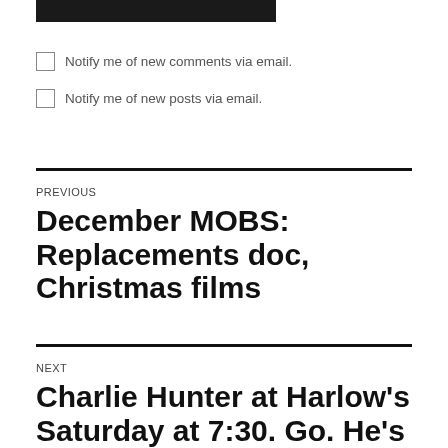[Figure (other): Black filled rectangle bar at top]
Notify me of new comments via email.
Notify me of new posts via email.
PREVIOUS
December MOBS: Replacements doc, Christmas films
NEXT
Charlie Hunter at Harlow's Saturday at 7:30. Go. He's rad.